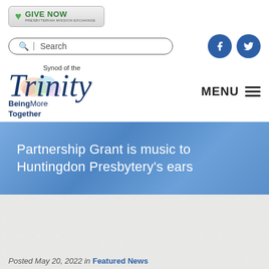[Figure (logo): Give Now button with green heart icon and text 'GIVE NOW / PRESBYTERIAN MISSION EXCHANGE']
[Figure (screenshot): Search bar with magnifier icon and social media icons (Facebook and Twitter) in blue circles on the right]
[Figure (logo): Synod of the Trinity logo: stylized cursive 'Trinity' with colorful map background, 'Being More Together' tagline, and MENU hamburger icon on the right]
Partnership Grant is music to Huntingdon Presbytery's ears
Posted May 20, 2022 in Featured News